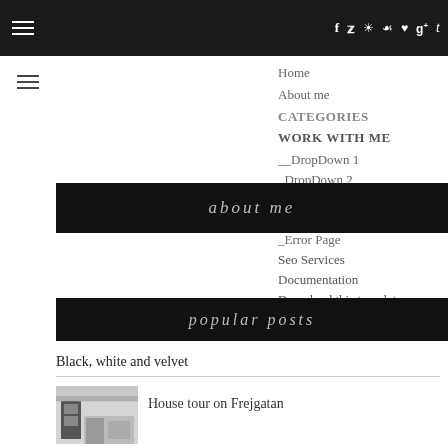[Figure (screenshot): Website navigation screenshot with dark top bar, social icons (f, twitter, camera, pinterest, heart, g+, t), hamburger menus, dropdown navigation menu, about me banner, popular posts banner, post listings]
Home
About me
CATEGORIES
WORK WITH ME
__DropDown 1
_DropDown 2
_DropDown 3
_SiteMap
_Error Page
Seo Services
Documentation
Download this template
about me
popular posts
Black, white and velvet
House tour on Frejgatan